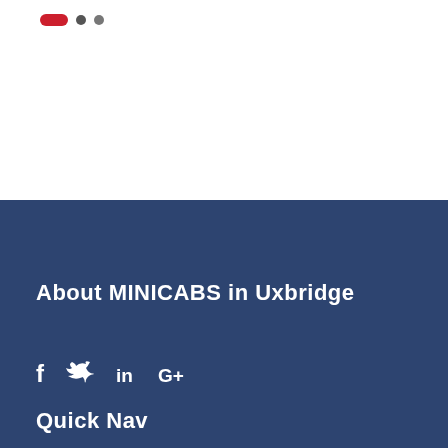[Figure (other): Navigation pagination dots: one red pill shape followed by two small gray circles]
About MINICABS in Uxbridge
[Figure (other): Social media icons: Facebook (f), Twitter bird, LinkedIn (in), Google+ (G+) displayed in white on dark blue background]
Quick Nav